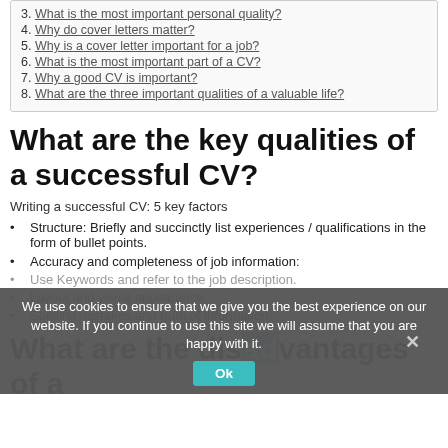3. What is the most important personal quality?
4. Why do cover letters matter?
5. Why is a cover letter important for a job?
6. What is the most important part of a CV?
7. Why a good CV is important?
8. What are the three important qualities of a valuable life?
What are the key qualities of a successful CV?
Writing a successful CV: 5 key factors
Structure: Briefly and succinctly list experiences / qualifications in the form of bullet points.
Accuracy and completeness of job information:
Use Keywords and refer to the job description.
Layout and visual appearance:
Spelling mistakes and truth of information:
We use cookies to ensure that we give you the best experience on our website. If you continue to use this site we will assume that you are happy with it.
What are the disadvantages of a